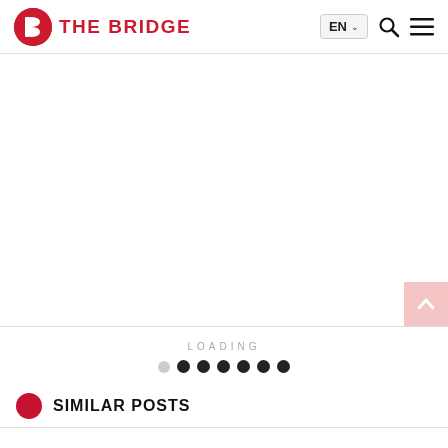THE BRIDGE
[Figure (other): Large blank white content area, likely a loading/empty article region]
LOADING
[Figure (other): Loading progress indicator: one light dot followed by six dark dots]
SIMILAR POSTS